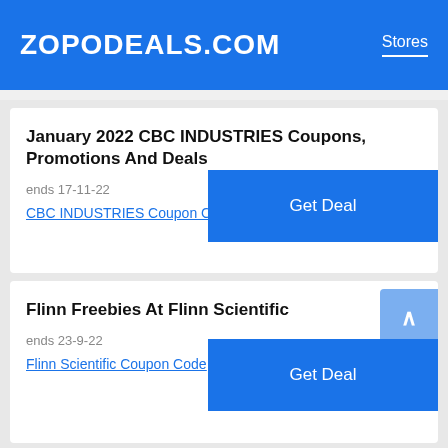ZOPODEALS.COM  Stores
January 2022 CBC INDUSTRIES Coupons, Promotions And Deals
ends 17-11-22
CBC INDUSTRIES Coupon Code
Flinn Freebies At Flinn Scientific
ends 23-9-22
Flinn Scientific Coupon Code